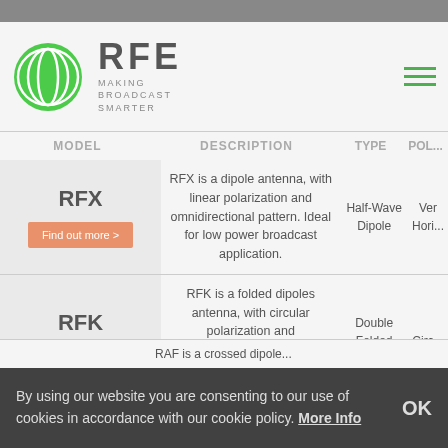RFE — MAKING BROADCAST SMARTER
| MODEL | DESCRIPTION | TYPE | POL... |
| --- | --- | --- | --- |
| RFX | RFX is a dipole antenna, with linear polarization and omnidirectional pattern. Ideal for low power broadcast application. | Half-Wave Dipole | Ver Hori... |
| RFK | RFK is a folded dipoles antenna, with circular polarization and omnidirectional pattern. Its uniform coverage is excellent for shadows filling. | Double Folded Dipole | Circ... |
| RAF... | RAF is a crossed dipole... |  |  |
By using our website you are consenting to our use of cookies in accordance with our cookie policy. More Info OK